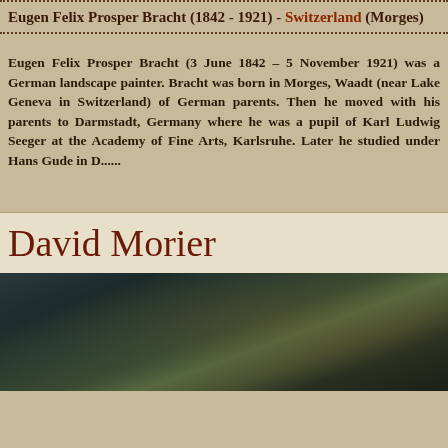Eugen Felix Prosper Bracht (1842 - 1921) - Switzerland (Morges)
Eugen Felix Prosper Bracht (3 June 1842 – 5 November 1921) was a German landscape painter. Bracht was born in Morges, Waadt (near Lake Geneva in Switzerland) of German parents. Then he moved with his parents to Darmstadt, Germany where he was a pupil of Karl Ludwig Seeger at the Academy of Fine Arts, Karlsruhe. Later he studied under Hans Gude in D......
David Morier
[Figure (photo): Dark oil painting showing a landscape scene with muted greens, blues and browns in a classic European landscape style]